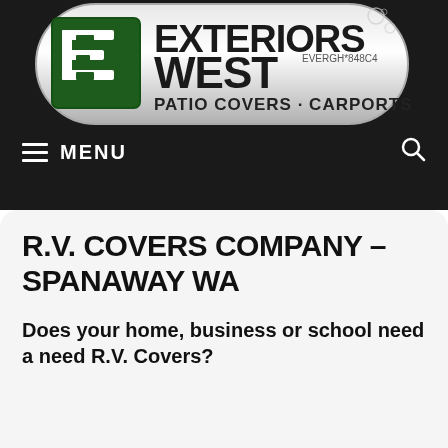[Figure (logo): Exteriors West logo — green and silver pill-shaped badge with stylized letter E icon, text 'EXTERIORS WEST', 'PATIO COVERS · CARPORTS', and 'EVERGH*848C4']
≡  MENU    🔍
R.V. COVERS COMPANY – SPANAWAY WA
Does your home, business or school need a need R.V. Covers?